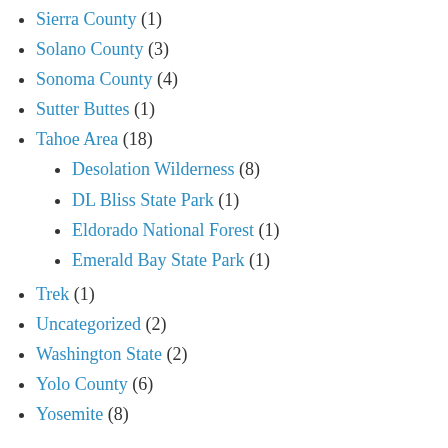Sierra County (1)
Solano County (3)
Sonoma County (4)
Sutter Buttes (1)
Tahoe Area (18)
Desolation Wilderness (8)
DL Bliss State Park (1)
Eldorado National Forest (1)
Emerald Bay State Park (1)
Trek (1)
Uncategorized (2)
Washington State (2)
Yolo County (6)
Yosemite (8)